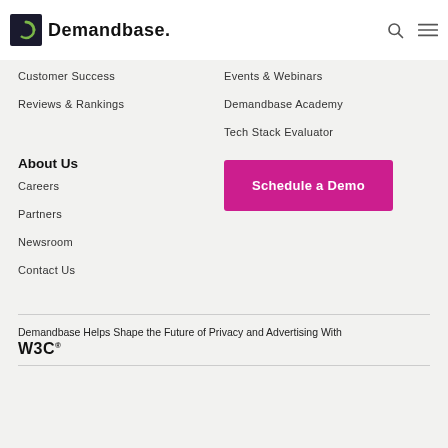[Figure (logo): Demandbase logo with dark square icon and text]
Customer Success
Events & Webinars
Reviews & Rankings
Demandbase Academy
Tech Stack Evaluator
About Us
[Figure (other): Schedule a Demo button in magenta/pink]
Careers
Partners
Newsroom
Contact Us
Demandbase Helps Shape the Future of Privacy and Advertising With W3C